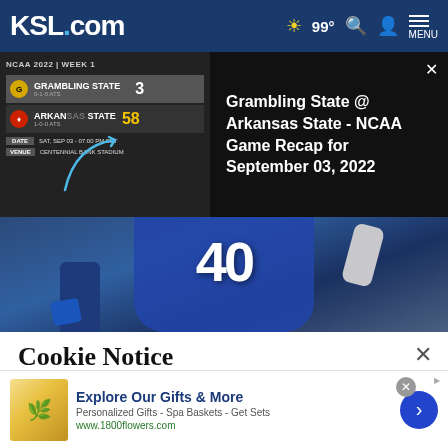KSL.com — 99° Weather, Search, Account, Menu
[Figure (screenshot): NCAA 2022 Week 1 scoreboard: Grambling State 3, Arkansas State 58. Date: SAT, SEP 03 - 07:00 PM EST. Venue: CENTENNIAL BANK STADIUM.]
Grambling State @ Arkansas State - NCAA Game Recap for September 03, 2022
[Figure (photo): Football player wearing blue jersey number 40, photographed from behind/side.]
Cookie Notice
We use cookies to improve your experience, analyze site traffic, and to personalize content and ads. By continuing to use our site, you consent to our use of cookies. Please visit our Terms of Use and Privacy Policy for more information
[Figure (infographic): Advertisement banner: Explore Our Gifts & More. Personalized Gifts - Spa Baskets - Get Sets. www.1800flowers.com]